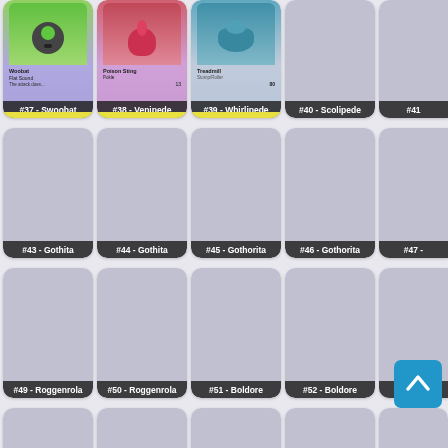[Figure (illustration): Grid of Pokemon trading cards showing numbered entries #37-#53 and partial bottom row. Row 1: #37 Swoobat (with card image), #38 Venipede (with card image), #39 Whirlipede (with card image), #40 Scolipede (placeholder), #41 partial. Row 2: #43 Gothita, #44 Gothita, #45 Gothorita, #46 Gothorita, #47 partial - all placeholders. Row 3: #49 Roggenrola, #50 Roggenrola, #51 Boldore, #52 Boldore, #53 partial - all placeholders. Row 4: partial placeholders. Back to top button visible over bottom-right area.]